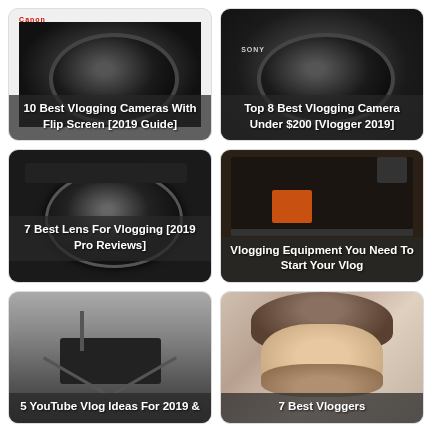[Figure (photo): Camera with lens - 10 Best Vlogging Cameras With Flip Screen [2019 Guide]]
[Figure (photo): Sony camera - Top 8 Best Vlogging Camera Under $200 [Vlogger 2019]]
[Figure (photo): Canon lens - 7 Best Lens For Vlogging [2019 Pro Reviews]]
[Figure (photo): Camera equipment laid out - Vlogging Equipment You Need To Start Your Vlog]
[Figure (photo): Camera on tripod - 5 YouTube Vlog Ideas For 2019 &]
[Figure (photo): Person face - 7 Best Vloggers]